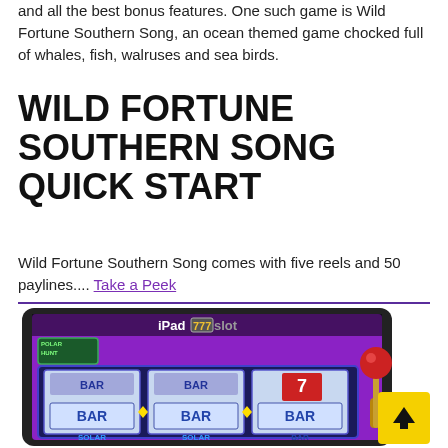and all the best bonus features. One such game is Wild Fortune Southern Song, an ocean themed game chocked full of whales, fish, walruses and sea birds.
WILD FORTUNE SOUTHERN SONG QUICK START
Wild Fortune Southern Song comes with five reels and 50 paylines.... Take a Peek
[Figure (screenshot): Screenshot of Wild Fortune Southern Song slot machine game on an iPad. Shows three reels with BAR symbols, a slot machine lever with red ball on right side. iPadslot.com watermark visible. Yellow back-to-top arrow button in bottom right corner.]